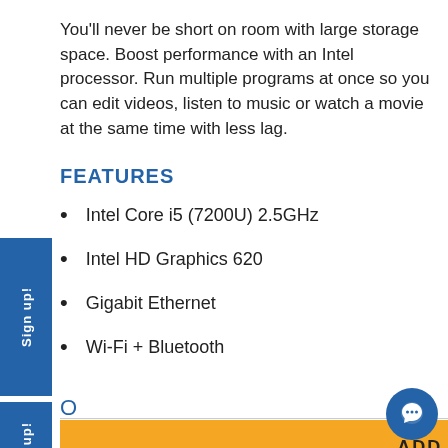You'll never be short on room with large storage space. Boost performance with an Intel processor. Run multiple programs at once so you can edit videos, listen to music or watch a movie at the same time with less lag.
FEATURES
Intel Core i5 (7200U) 2.5GHz
Intel HD Graphics 620
Gigabit Ethernet
Wi-Fi + Bluetooth